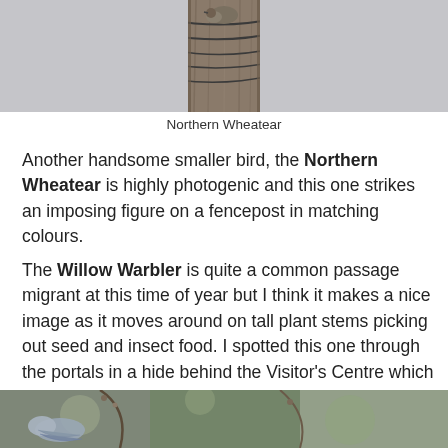[Figure (photo): A Northern Wheatear bird perched on a wooden fencepost, photographed against a grey background. The bird blends with the grey-brown tones of the weathered post.]
Northern Wheatear
Another handsome smaller bird, the Northern Wheatear is highly photogenic and this one strikes an imposing figure on a fencepost in matching colours.
The Willow Warbler is quite a common passage migrant at this time of year but I think it makes a nice image as it moves around on tall plant stems picking out seed and insect food. I spotted this one through the portals in a hide behind the Visitor's Centre which allowed some close-up shots of a very active little bird finding good pickings on the plant seed heads.
[Figure (photo): Partial view of another bird photograph at the bottom of the page, showing a bird (likely the Willow Warbler) on plant stems with a blurred background.]